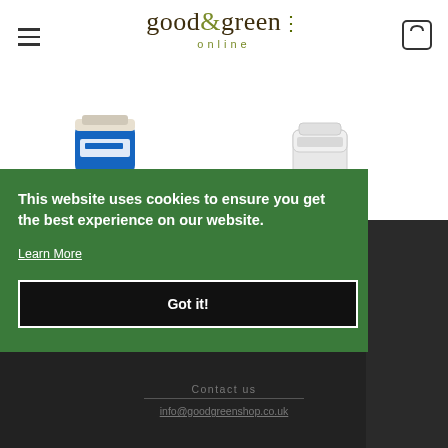[Figure (logo): good&green online logo with hamburger menu and cart icon]
[Figure (photo): Natura Siberica Deep Cleansing Clay Mask 75ml product image - blue tube]
Natura Siberica Deep Cleansing Clay Mask 75ml
£7.49
[Figure (photo): Natura Siberica Balancing Face Cream-Gel 50ml product image - clear container]
Natura Siberica Balancing Face Cream-Gel 50ml
£9.99
This website uses cookies to ensure you get the best experience on our website.
Learn More
Got it!
Contact us
info@goodgreenshop.co.uk